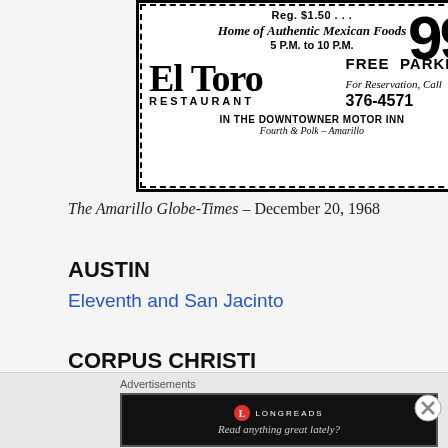[Figure (other): Newspaper advertisement for El Toro Restaurant. Shows '99¢', 'Reg. $1.50...', 'Home of Authentic Mexican Foods', '5 P.M. to 10 P.M.', 'El Toro RESTAURANT', 'FREE PARKING', 'For Reservation, Call 376-4571', 'IN THE DOWNTOWNER MOTOR INN Fourth & Polk - Amarillo']
The Amarillo Globe-Times – December 20, 1968
AUSTIN
Eleventh and San Jacinto
CORPUS CHRISTI
Shoreline and Schatzel